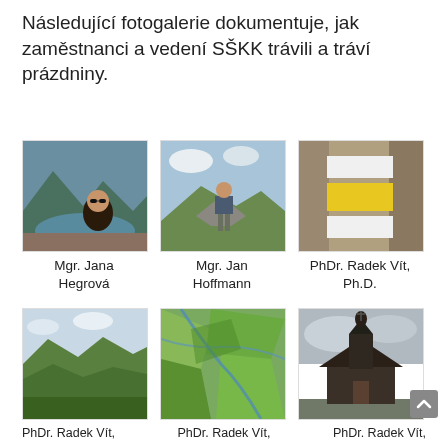Následující fotogalerie dokumentuje, jak zaměstnanci a vedení SŠKK trávili a tráví prázdniny.
[Figure (photo): Mountain lake selfie of a woman wearing sunglasses - Mgr. Jana Hegrová]
Mgr. Jana Hegrová
[Figure (photo): Man standing on rocks on a hilltop - Mgr. Jan Hoffmann]
Mgr. Jan Hoffmann
[Figure (photo): Yellow and white hiking trail markers on a tree - PhDr. Radek Vít, Ph.D.]
PhDr. Radek Vít, Ph.D.
[Figure (photo): Green rolling hills landscape - PhDr. Radek Vít]
[Figure (photo): Aerial map/satellite view of green countryside - PhDr. Radek Vít]
[Figure (photo): Wooden church building - PhDr. Radek Vít]
PhDr. Radek Vít, PhDr. Radek Vít, PhDr. Radek Vít,